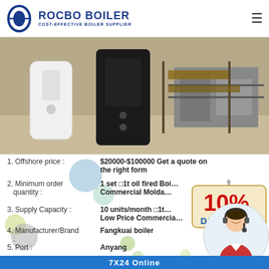[Figure (logo): Rocbo Boiler logo with blue circular icon and text 'ROCBO BOILER COST-EFFECTIVE BOILER SUPPLIER']
[Figure (photo): Industrial boiler equipment photo showing white cylindrical boiler units and machinery in a workshop/factory setting]
1. Offshore price : $20000-$100000 Get a quote on the right form
2. Minimum order quantity : 1 set 1t oil fired Boiler Commercial Moldova
3. Supply Capacity : 10 units/month 1t Low Price Commercial
4. Manufacturer/Brand : Fangkuai boiler
5. Port : Anyang
6. payment terms : Letter of Credit, Wire Transfer,
[Figure (infographic): 10% DISCOUNT promotional banner]
[Figure (photo): Customer service representative with headset]
7X24 Online